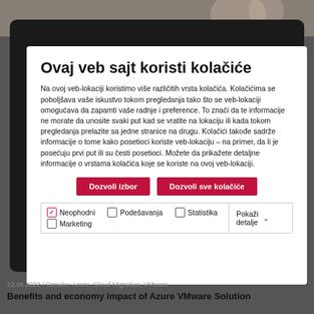[Figure (photo): Blurred background photo strip at the top showing a person in an office or indoor setting]
Ovaj veb sajt koristi kolačiće
Na ovoj veb-lokaciji koristimo više različitih vrsta kolačića. Kolačićima se poboljšava vaše iskustvo tokom pregledanja tako što se veb-lokaciji omogućava da zapamti vaše radnje i preference. To znači da te informacije ne morate da unosite svaki put kad se vratite na lokaciju ili kada tokom pregledanja prelazite sa jedne stranice na drugu. Kolačići takođe sadrže informacije o tome kako posetioci koriste veb-lokaciju – na primer, da li je posećuju prvi put ili su česti posetioci. Možete da prikažete detaljne informacije o vrstama kolačića koje se koriste na ovoj veb-lokaciji.
Dozvoli izbor | Dozvoli sve kolačiće
Neophodni  Podešavanja  Statistika  Pokaži detalje  Marketing
22.06.2022 / Oznake: Azure, Cloud Migration, VMware
Benefits and economy impact of Azure VMware Solution